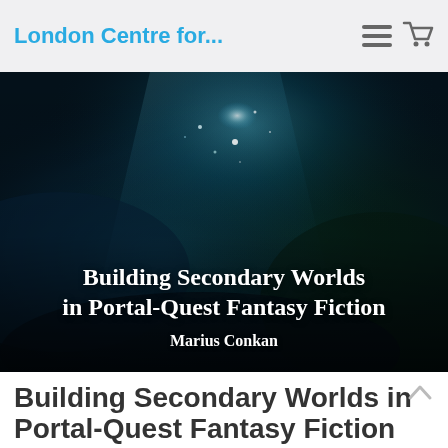London Centre for...
[Figure (photo): Dark fantasy underwater/cave scene with blue glowing light, featuring overlaid white bold text: 'Building Secondary Worlds in Portal-Quest Fantasy Fiction' and author name 'Marius Conkan']
Building Secondary Worlds in Portal-Quest Fantasy Fiction